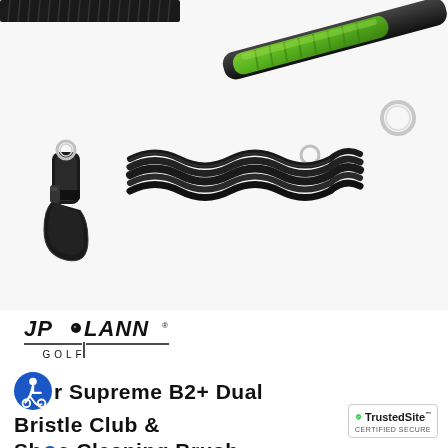[Figure (photo): Close-up photo of a JP Lann Golf club and shoe cleaning brush with a green and black rubber grip handle, black coiled retractable cord/lanyard with a carabiner clip on one end and a key ring on the other, set against a white background. Black bristles visible at the top.]
[Figure (logo): JP Lann Golf logo — stylized text 'JP LANN' with a golf ball dot above 'o', and 'GOLF' centered beneath, with horizontal lines flanking a vertical stem.]
Pro Supreme B2+ Dual Bristle Club & Shoe Cleaning Brush
[Figure (logo): TrustedSite Certified Secure badge with green checkmark shield.]